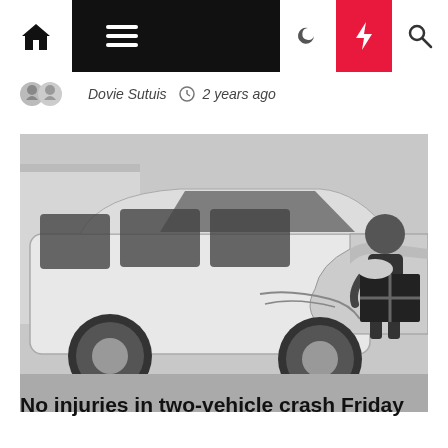Navigation bar with home, menu, dark mode, breaking news, and search icons
Dovie Sutuis  2 years ago
[Figure (photo): A damaged white Dodge Grand Caravan minivan with front-end and side damage, a police officer visible in the background on the right]
Vehicle
No injuries in two-vehicle crash Friday